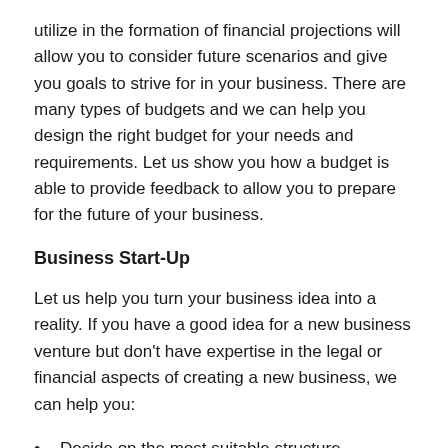utilize in the formation of financial projections will allow you to consider future scenarios and give you goals to strive for in your business. There are many types of budgets and we can help you design the right budget for your needs and requirements. Let us show you how a budget is able to provide feedback to allow you to prepare for the future of your business.
Business Start-Up
Let us help you turn your business idea into a reality. If you have a good idea for a new business venture but don't have expertise in the legal or financial aspects of creating a new business, we can help you:
Decide on the most suitable structure